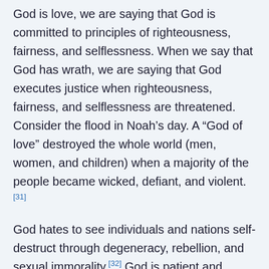God is love, we are saying that God is committed to principles of righteousness, fairness, and selflessness. When we say that God has wrath, we are saying that God executes justice when righteousness, fairness, and selflessness are threatened. Consider the flood in Noah's day. A “God of love” destroyed the whole world (men, women, and children) when a majority of the people became wicked, defiant, and violent.[31]
God hates to see individuals and nations self-destruct through degeneracy, rebellion, and sexual immorality.[32] God is patient and longsuffering, not willing that anyone should perish.[33] We sometimes forget that God loves oncoming generations just as much as He